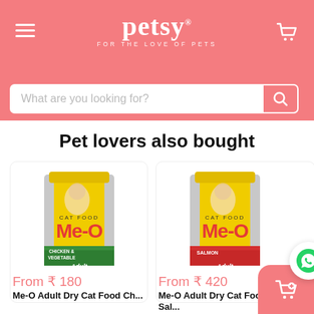[Figure (logo): Petsy logo with tagline 'FOR THE LOVE OF PETS' on salmon/coral header with hamburger menu and cart icon]
[Figure (screenshot): Search bar with placeholder 'What are you looking for?' and search button]
Pet lovers also bought
[Figure (photo): Me-O Adult Dry Cat Food bag - Chicken & Vegetable flavor, yellow bag with cat]
From ₹ 180
Me-O Adult Dry Cat Food Chicken and Vegetable
[Figure (photo): Me-O Adult Dry Cat Food bag - Salmon flavor, yellow bag with cat, WhatsApp button overlay]
From ₹ 420
Me-O Adult Dry Cat Food Salmon